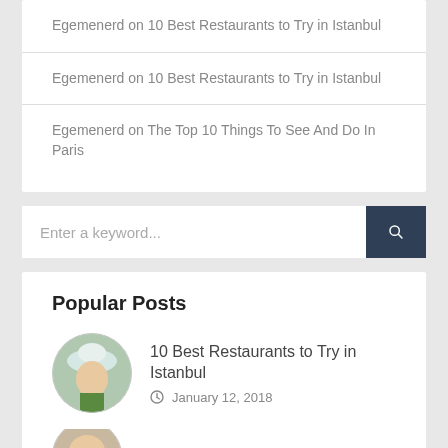Egemenerd on 10 Best Restaurants to Try in Istanbul
Egemenerd on 10 Best Restaurants to Try in Istanbul
Egemenerd on The Top 10 Things To See And Do In Paris
Enter a keyword...
Popular Posts
10 Best Restaurants to Try in Istanbul
January 12, 2018